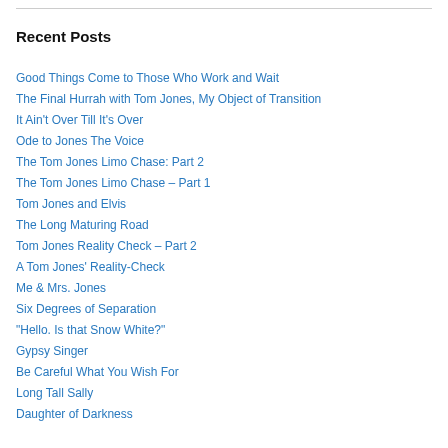Recent Posts
Good Things Come to Those Who Work and Wait
The Final Hurrah with Tom Jones, My Object of Transition
It Ain't Over Till It's Over
Ode to Jones The Voice
The Tom Jones Limo Chase: Part 2
The Tom Jones Limo Chase – Part 1
Tom Jones and Elvis
The Long Maturing Road
Tom Jones Reality Check – Part 2
A Tom Jones' Reality-Check
Me & Mrs. Jones
Six Degrees of Separation
“Hello. Is that Snow White?”
Gypsy Singer
Be Careful What You Wish For
Long Tall Sally
Daughter of Darkness